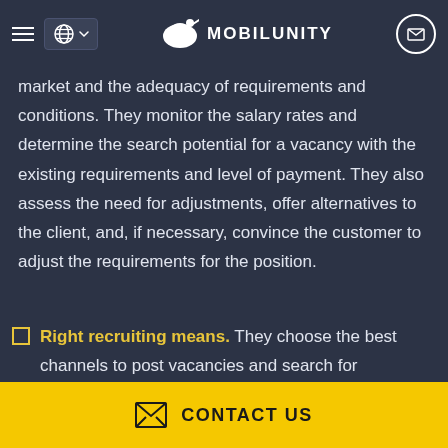MOBILUNITY
market and the adequacy of requirements and conditions. They monitor the salary rates and determine the search potential for a vacancy with the existing requirements and level of payment. They also assess the need for adjustments, offer alternatives to the client, and, if necessary, convince the customer to adjust the requirements for the position.
Right recruiting means. They choose the best channels to post vacancies and search for
CONTACT US